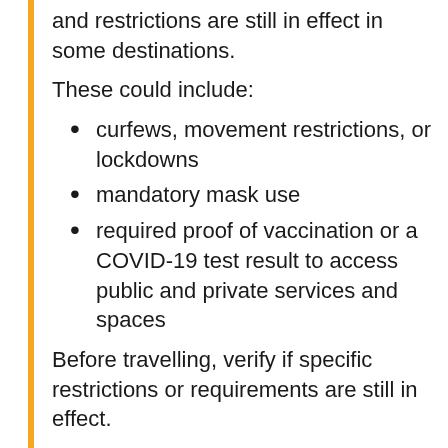and restrictions are still in effect in some destinations.
These could include:
curfews, movement restrictions, or lockdowns
mandatory mask use
required proof of vaccination or a COVID-19 test result to access public and private services and spaces
Before travelling, verify if specific restrictions or requirements are still in effect.
Foreign Representatives in Canada